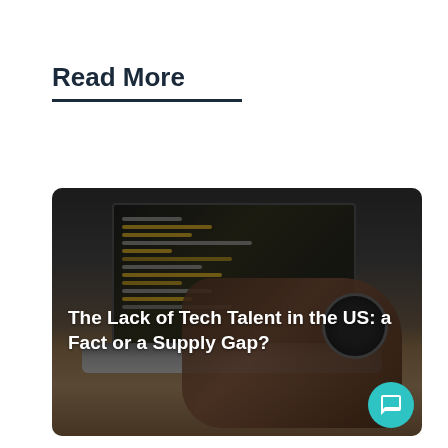Read More
[Figure (photo): Photo of a person's hand wearing a watch typing on a laptop keyboard, with code visible on the laptop screen, placed on a wooden desk. The image has a dark overlay and contains the article title text overlay.]
The Lack of Tech Talent in the US: a Fact or a Supply Gap?